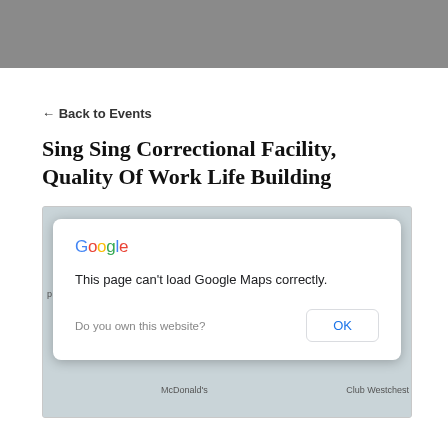[Figure (other): Gray header bar at top of page, approximately 68px tall]
← Back to Events
Sing Sing Correctional Facility, Quality Of Work Life Building
[Figure (map): Google Maps embed showing a dialog: 'This page can't load Google Maps correctly.' with a Google logo, message text, 'Do you own this website?' label, and an OK button. Background shows a partially visible map with McDonald's and Club Westchester labels.]